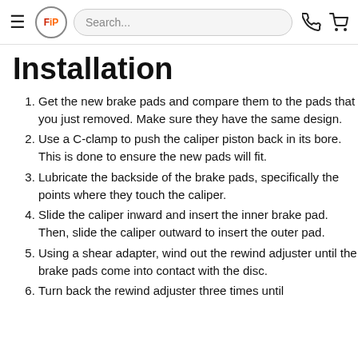FiP logo, Search bar, phone icon, cart icon
Installation
Get the new brake pads and compare them to the pads that you just removed. Make sure they have the same design.
Use a C-clamp to push the caliper piston back in its bore. This is done to ensure the new pads will fit.
Lubricate the backside of the brake pads, specifically the points where they touch the caliper.
Slide the caliper inward and insert the inner brake pad. Then, slide the caliper outward to insert the outer pad.
Using a shear adapter, wind out the rewind adjuster until the brake pads come into contact with the disc.
Turn back the rewind adjuster three times until